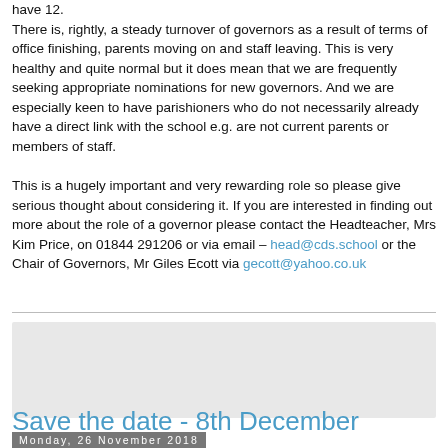have 12.
There is, rightly, a steady turnover of governors as a result of terms of office finishing, parents moving on and staff leaving. This is very healthy and quite normal but it does mean that we are frequently seeking appropriate nominations for new governors. And we are especially keen to have parishioners who do not necessarily already have a direct link with the school e.g. are not current parents or members of staff.

This is a hugely important and very rewarding role so please give serious thought about considering it. If you are interested in finding out more about the role of a governor please contact the Headteacher, Mrs Kim Price, on 01844 291206 or via email – head@cds.school or the Chair of Governors, Mr Giles Ecott via gecott@yahoo.co.uk
[Figure (other): Grey/light gray rectangular image block]
Monday, 26 November 2018
Save the date - 8th December